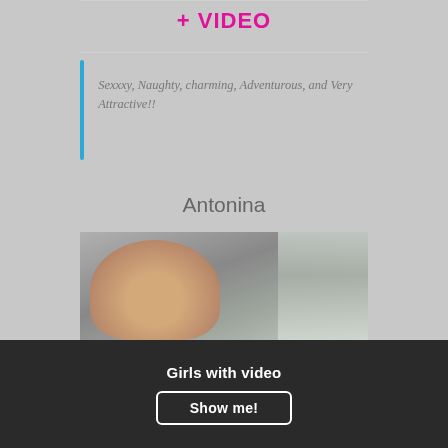+ VIDEO
Sexxxy, Naughty, charming, Adventurous, and Very Attractive!!
Antonina
[Figure (photo): Portrait photo of a young woman with light brown hair pulled back with a headband, looking over her shoulder, against a grey draped background]
Girls with video
Show me!